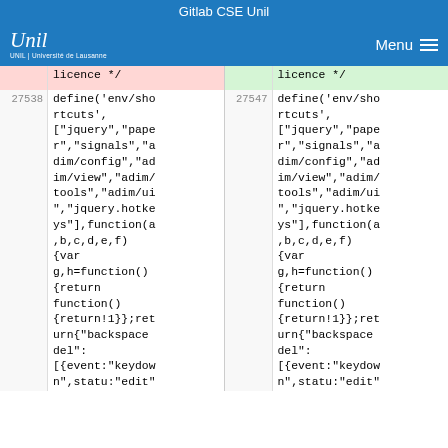Gitlab CSE Unil
[Figure (screenshot): UNIL University of Lausanne navigation bar with logo and Menu button]
| line-num-left | code-left | line-num-right | code-right |
| --- | --- | --- | --- |
|  | licence */ |  | licence */ |
| 27538 | define('env/shortcuts', ["jquery","paper","signals","adim/config","adim/view","adim/tools","adim/ui","jquery.hotkeys"],function(a,b,c,d,e,f){var g,h=function(){return function(){return!1}};ret urn{"backspace del":[{event:"keydown",statu:"edit" | 27547 | define('env/shortcuts', ["jquery","paper","signals","adim/config","adim/view","adim/tools","adim/ui","jquery.hotkeys"],function(a,b,c,d,e,f){var g,h=function(){return function(){return!1}};return{"backspace del":[{event:"keydown",statu:"edit" |